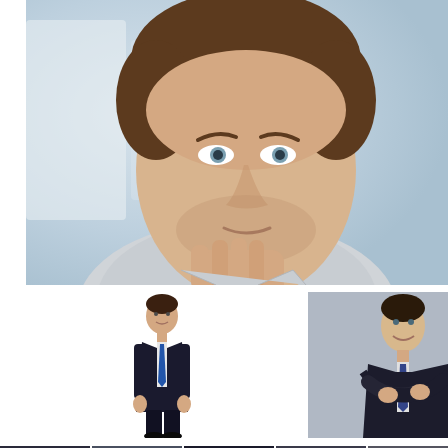[Figure (photo): Close-up portrait of a young businessman with short brown hair, thoughtful pose with hand under chin, wearing a light grey/white dress shirt, blurred office background]
[Figure (photo): Full-body photo of a young Asian businessman in a dark suit with blue tie, standing on white background, smiling]
[Figure (photo): Portrait of a smiling businessman in dark suit with striped tie, arms crossed, leaning against a grey wall]
[Figure (photo): Strip of partial business-related photos at the bottom of the page]